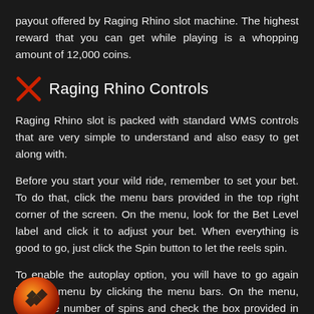payout offered by Raging Rhino slot machine. The highest reward that you can get while playing is a whopping amount of 12,000 coins.
Raging Rhino Controls
Raging Rhino slot is packed with standard WMS controls that are very simple to understand and also easy to get along with.
Before you start your wild ride, remember to set your bet. To do that, click the menu bars provided in the top right corner of the screen. On the menu, look for the Bet Level label and click it to adjust your bet. When everything is good to go, just click the Spin button to let the reels spin.
To enable the autoplay option, you will have to go again into the menu by clicking the menu bars. On the menu, enter the number of spins and check the box provided in front of the Autoplay button. Sound controls, paytable information,